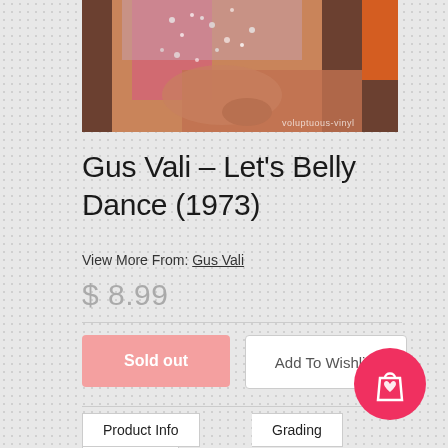[Figure (photo): Partial view of a vinyl record album cover showing a belly dancer in a pink beaded costume, with 'voluptuous-vinyl' watermark]
Gus Vali – Let's Belly Dance (1973)
View More From: Gus Vali
$ 8.99
Sold out
Add To Wishlist
Product Info
Grading
Shipping